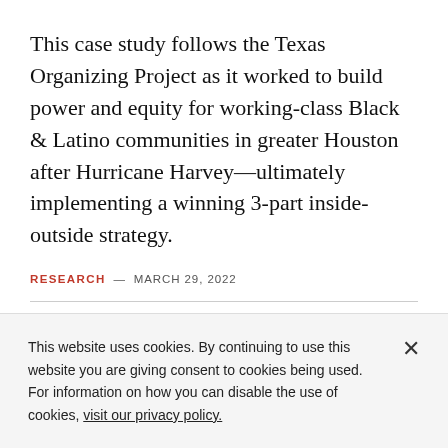This case study follows the Texas Organizing Project as it worked to build power and equity for working-class Black & Latino communities in greater Houston after Hurricane Harvey—ultimately implementing a winning 3-part inside-outside strategy.
RESEARCH — MARCH 29, 2022
This website uses cookies. By continuing to use this website you are giving consent to cookies being used. For information on how you can disable the use of cookies, visit our privacy policy.